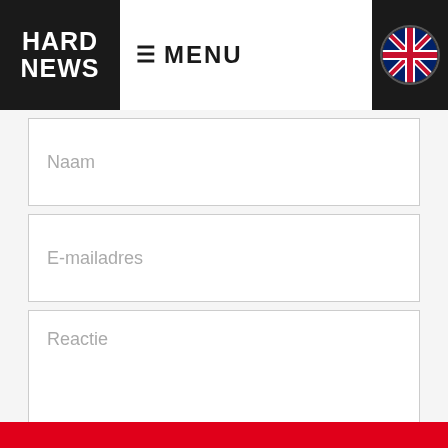HARD NEWS | MENU
Naam
E-mailadres
Reactie